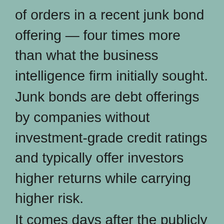of orders in a recent junk bond offering — four times more than what the business intelligence firm initially sought.
Junk bonds are debt offerings by companies without investment-grade credit ratings and typically offer investors higher returns while carrying higher risk.
It comes days after the publicly listed company, which owns 92,079 BTC with a current market value of $3.2 billion, announced plans to spin off its crypto holdings into a new subsidiary called MacroStrategy LLC.
Although this has been interpreted as bullish